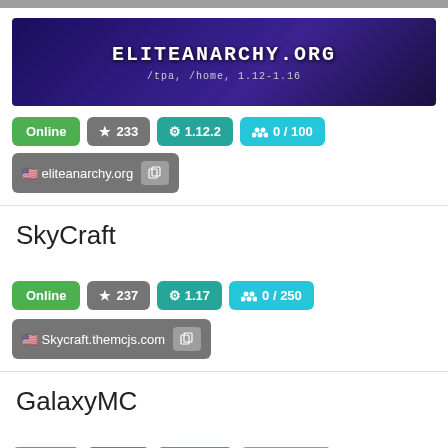[Figure (screenshot): Top gray bar partially visible]
[Figure (screenshot): EliteAnarchy.org server banner with purple/dark background showing ELITEANARCHY.ORG and /tpa, /home, 1.12-1.16]
Online  ★ 233  ⚙ 1.12.2  👥 0 / 100
🇺🇸 eliteanarchy.org
SkyCraft
Online  ★ 237  ⚙ 1.17  👥 0 / 250
🇺🇸 Skycraft.themcjs.com
GalaxyMC
Online  ★ 241  ⚙ 1.19.x  👥 0 / 2022